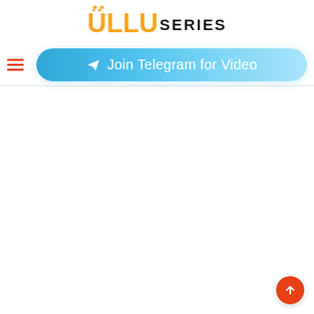ÜLLU SERIES
[Figure (screenshot): Navigation bar with hamburger menu icon and a blue Telegram join button]
Join Telegram for Video